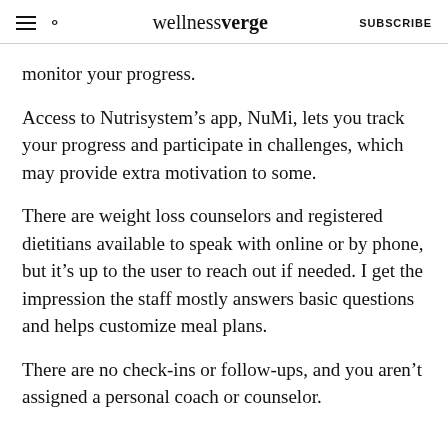wellnessverge
monitor your progress.
Access to Nutrisystem’s app, NuMi, lets you track your progress and participate in challenges, which may provide extra motivation to some.
There are weight loss counselors and registered dietitians available to speak with online or by phone, but it’s up to the user to reach out if needed. I get the impression the staff mostly answers basic questions and helps customize meal plans.
There are no check-ins or follow-ups, and you aren’t assigned a personal coach or counselor.